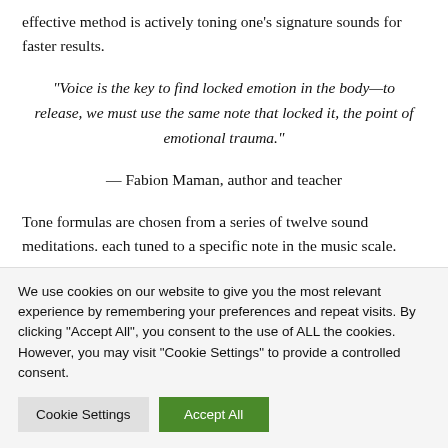effective method is actively toning one's signature sounds for faster results.
“Voice is the key to find locked emotion in the body—to release, we must use the same note that locked it, the point of emotional trauma.”
— Fabion Maman, author and teacher
Tone formulas are chosen from a series of twelve sound meditations. each tuned to a specific note in the music scale.
We use cookies on our website to give you the most relevant experience by remembering your preferences and repeat visits. By clicking “Accept All”, you consent to the use of ALL the cookies. However, you may visit "Cookie Settings" to provide a controlled consent.